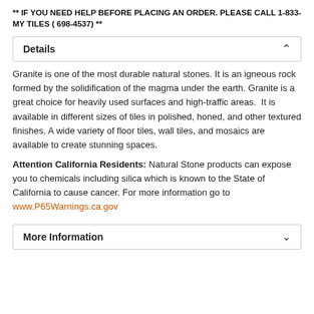** IF YOU NEED HELP BEFORE PLACING AN ORDER. PLEASE CALL 1-833- MY TILES ( 698-4537) **
Details
Granite is one of the most durable natural stones. It is an igneous rock formed by the solidification of the magma under the earth. Granite is a great choice for heavily used surfaces and high-traffic areas.  It is available in different sizes of tiles in polished, honed, and other textured finishes. A wide variety of floor tiles, wall tiles, and mosaics are available to create stunning spaces.
Attention California Residents: Natural Stone products can expose you to chemicals including silica which is known to the State of California to cause cancer. For more information go to www.P65Warnings.ca.gov
More Information